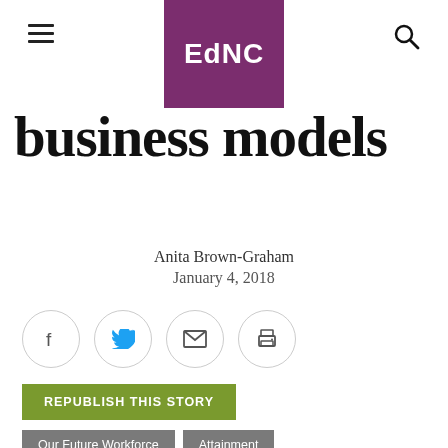EdNC
business models
Anita Brown-Graham
January 4, 2018
[Figure (infographic): Social sharing buttons: Facebook, Twitter, Email, Print — circular outlined icons in a horizontal row]
REPUBLISH THIS STORY
Our Future Workforce   Attainment
Dramatic industry model changes are forcing